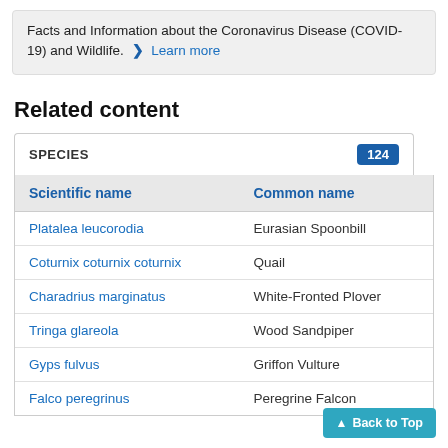Facts and Information about the Coronavirus Disease (COVID-19) and Wildlife. ❯ Learn more
Related content
| Scientific name | Common name |
| --- | --- |
| Platalea leucorodia | Eurasian Spoonbill |
| Coturnix coturnix coturnix | Quail |
| Charadrius marginatus | White-Fronted Plover |
| Tringa glareola | Wood Sandpiper |
| Gyps fulvus | Griffon Vulture |
| Falco peregrinus | Peregrine Falcon |